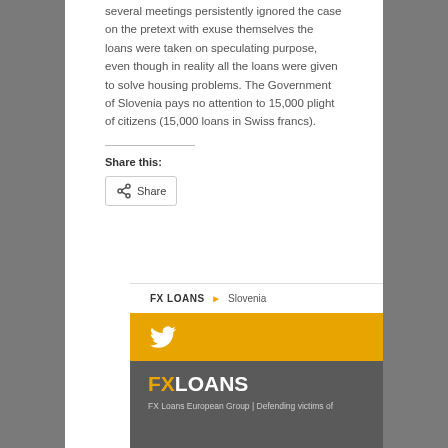several meetings persistently ignored the case on the pretext with exuse themselves the loans were taken on speculating purpose, even though in reality all the loans were given to solve housing problems. The Government of Slovenia pays no attention to 15,000 plight of citizens (15,000 loans in Swiss francs).
Share this:
[Figure (other): Share button with share icon]
FX LOANS ▶ Slovenia
[Figure (other): Twitter bird icon on gold/amber background bar]
FXLOANS
FX Loans European Group | Defending victims of